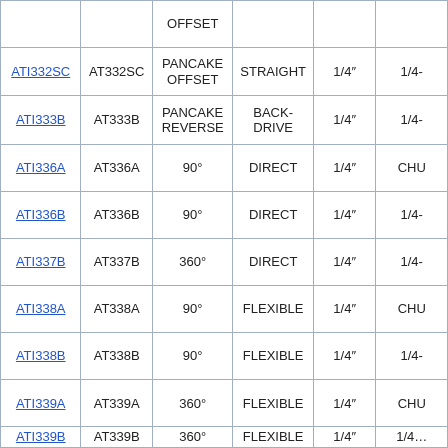|  |  | OFFSET |  |  |  |
| --- | --- | --- | --- | --- | --- |
| ATI332SC | AT332SC | PANCAKE OFFSET | STRAIGHT | 1/4" | 1/4- |
| ATI333B | AT333B | PANCAKE REVERSE | BACK-DRIVE | 1/4" | 1/4- |
| ATI336A | AT336A | 90° | DIRECT | 1/4" | CHU |
| ATI336B | AT336B | 90° | DIRECT | 1/4" | 1/4- |
| ATI337B | AT337B | 360° | DIRECT | 1/4" | 1/4- |
| ATI338A | AT338A | 90° | FLEXIBLE | 1/4" | CHU |
| ATI338B | AT338B | 90° | FLEXIBLE | 1/4" | 1/4- |
| ATI339A | AT339A | 360° | FLEXIBLE | 1/4" | CHU |
| ATI339B | AT339B | 360° | FLEXIBLE | 1/4" | 1/42 |